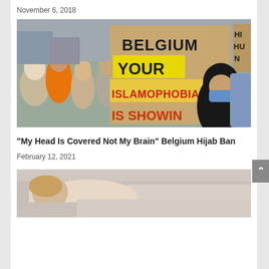November 6, 2018
[Figure (photo): Protest scene with crowd of people, one holding a cardboard sign reading 'BELGIUM YOUR ISLAMOPHOBIA IS SHOWING'. A woman in black hijab and blue mask is visible in the foreground.]
“My Head Is Covered Not My Brain” Belgium Hijab Ban
February 12, 2021
[Figure (photo): Close-up photo of a person lying down, partially cropped at bottom of page.]